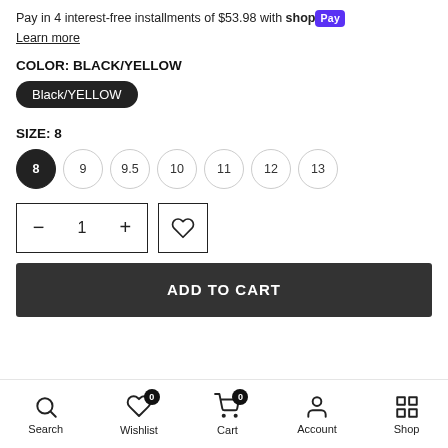Pay in 4 interest-free installments of $53.98 with shop Pay
Learn more
COLOR: BLACK/YELLOW
Black/YELLOW
SIZE: 8
8 9 9.5 10 11 12 13
[Figure (screenshot): Quantity selector with minus, 1, plus buttons and a wishlist heart button]
ADD TO CART
Search Wishlist Cart Account Shop